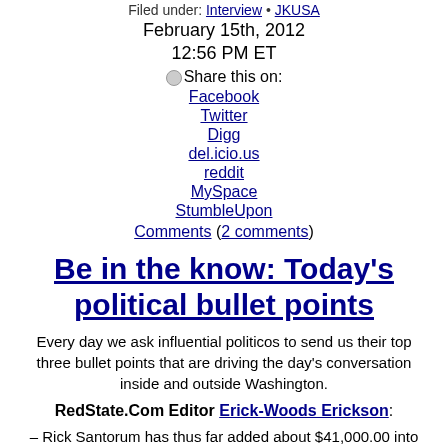Filed under: Interview • JKUSA
February 15th, 2012
12:56 PM ET
Share this on:
Facebook
Twitter
Digg
del.icio.us
reddit
MySpace
StumbleUpon
Comments (2 comments)
Be in the know: Today's political bullet points
Every day we ask influential politicos to send us their top three bullet points that are driving the day's conversation inside and outside Washington.
RedState.Com Editor Erick-Woods Erickson:
– Rick Santorum has thus far added about $41,000.00 into the ad buying coffers of Michigan networks compared to Romney's